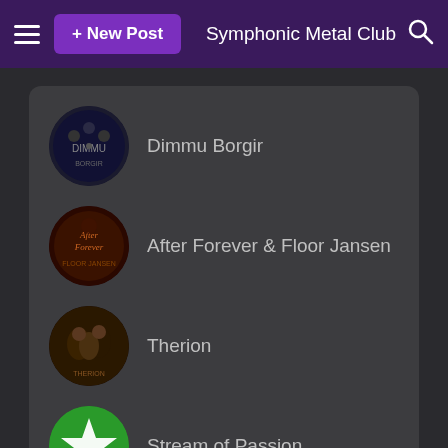+ New Post   Symphonic Metal Club
Dimmu Borgir
After Forever & Floor Jansen
Therion
Stream of Passion